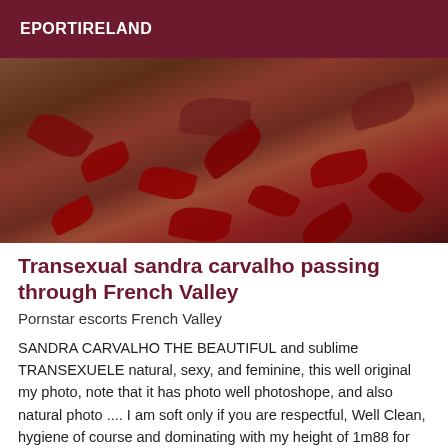EPORTIRELAND
[Figure (photo): Close-up photo showing a torso and red rose petals scattered on white bedding]
Transexual sandra carvalho passing through French Valley
Pornstar escorts French Valley
SANDRA CARVALHO THE BEAUTIFUL and sublime TRANSEXUELE natural, sexy, and feminine, this well original my photo, note that it has photo well photoshope, and also natural photo .... I am soft only if you are respectful, Well Clean, hygiene of course and dominating with my height of 1m88 for 70kg, I have a super pretty body beautiful AND ..... I also practice very